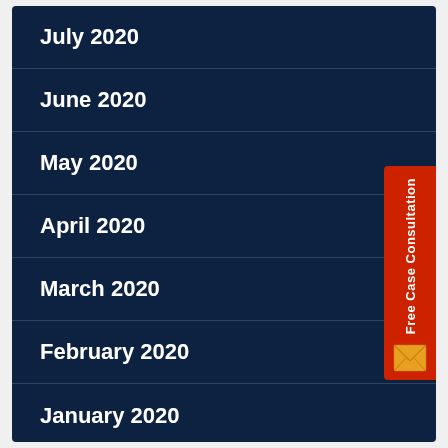July 2020
June 2020
May 2020
April 2020
March 2020
February 2020
January 2020
[Figure (other): Red sidebar tab with text 'Free Case Consultation' written vertically and an envelope icon at the bottom]